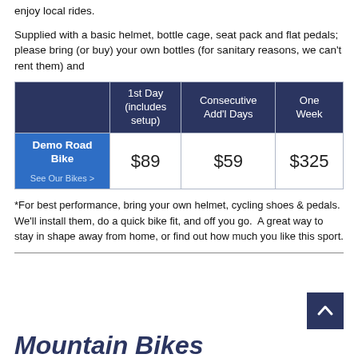enjoy local rides.
Supplied with a basic helmet, bottle cage, seat pack and flat pedals; please bring (or buy) your own bottles (for sanitary reasons, we can't rent them) and
|  | 1st Day (includes setup) | Consecutive Add'l Days | One Week |
| --- | --- | --- | --- |
| Demo Road Bike
See Our Bikes > | $89 | $59 | $325 |
*For best performance, bring your own helmet, cycling shoes & pedals.  We'll install them, do a quick bike fit, and off you go.  A great way to stay in shape away from home, or find out how much you like this sport.
Mountain Bikes